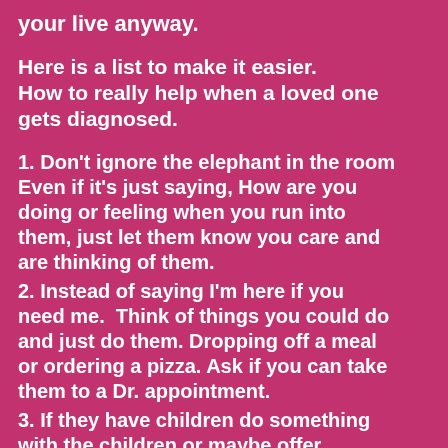your live anyway.
Here is a list to make it easier. How to really help when a loved one gets diagnosed.
1. Don't ignore the elephant in the room Even if it's just saying, How are you doing or feeling when you run into them, just let them know you care and are thinking of them.
2. Instead of saying I'm here if you need me.  Think of things you could do and just do them. Dropping off a meal or ordering a pizza. Ask if you can take them to a Dr. appointment.
3. If they have children do something with the children or maybe offer